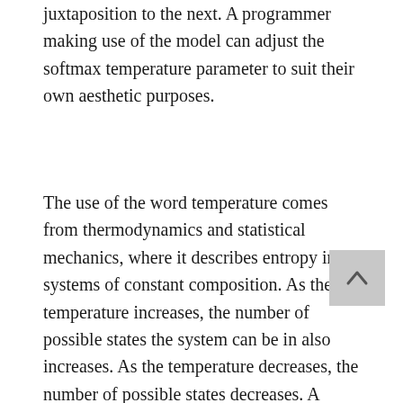juxtaposition to the next. A programmer making use of the model can adjust the softmax temperature parameter to suit their own aesthetic purposes.
The use of the word temperature comes from thermodynamics and statistical mechanics, where it describes entropy in systems of constant composition. As the temperature increases, the number of possible states the system can be in also increases. As the temperature decreases, the number of possible states decreases. A simple example of this is phase changes of matter: ice, a solid, has a predictable, crystalline